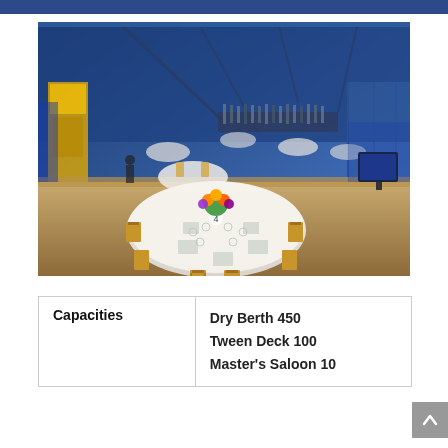[Figure (photo): Indoor event/banquet hall with round tables set with white linens, gold chiavari chairs, glassware, and floral centerpieces with yellow and purple flowers. The venue has a large glass ceiling/wall and boat hull visible in background, suggesting a maritime museum setting.]
| Capacities |  |
| --- | --- |
| Capacities | Dry Berth 450
Tween Deck 100
Master's Saloon 10 |